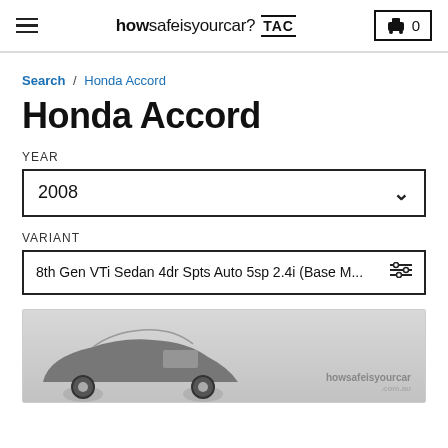howsafeisyourcar? TAC  0
Search / Honda Accord
Honda Accord
YEAR
2008
VARIANT
8th Gen VTi Sedan 4dr Spts Auto 5sp 2.4i (Base M...
[Figure (photo): Partial view of a Honda Accord car on a grey background with howsafeisyourcar.com.au watermark]